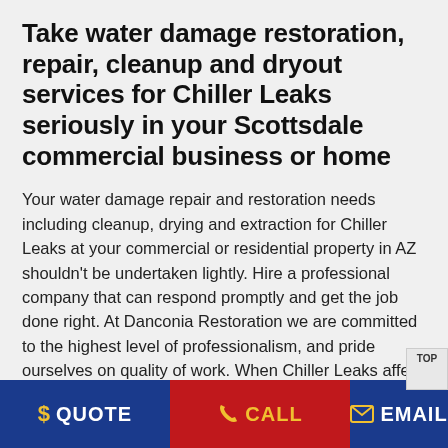Take water damage restoration, repair, cleanup and dryout services for Chiller Leaks seriously in your Scottsdale commercial business or home
Your water damage repair and restoration needs including cleanup, drying and extraction for Chiller Leaks at your commercial or residential property in AZ shouldn't be undertaken lightly. Hire a professional company that can respond promptly and get the job done right. At Danconia Restoration we are committed to the highest level of professionalism, and pride ourselves on quality of work. When Chiller Leaks affect your home or business it's not only a nuisance, but can pose risk to the health of all of those involved. Don't fret; you are only one call away from having your problem solved, and mind eased.
$ QUOTE   📞 CALL   ✉ EMAIL